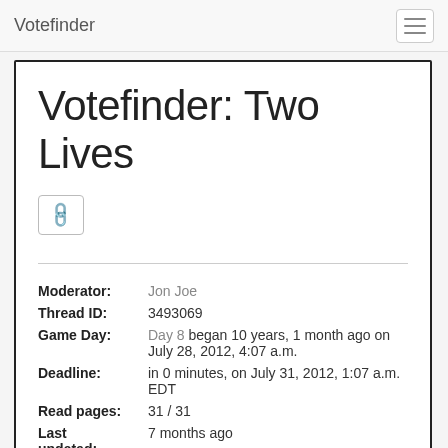Votefinder
Votefinder: Two Lives
Moderator: Jon Joe
Thread ID: 3493069
Game Day: Day 8 began 10 years, 1 month ago on July 28, 2012, 4:07 a.m.
Deadline: in 0 minutes, on July 31, 2012, 1:07 a.m. EDT
Read pages: 31 / 31
Last updated: 7 months ago